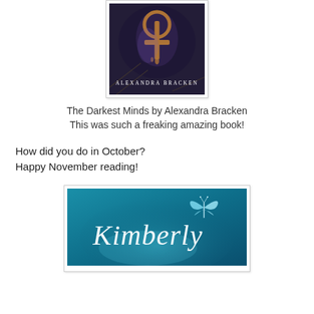[Figure (illustration): Book cover of The Darkest Minds by Alexandra Bracken — dark background with golden symbol and bare branches, author name in white text]
The Darkest Minds by Alexandra Bracken
This was such a freaking amazing book!
How did you do in October?
Happy November reading!
[Figure (illustration): Blue background signature graphic with the name Kimberly in italic white text and a light blue butterfly illustration in the upper right corner]